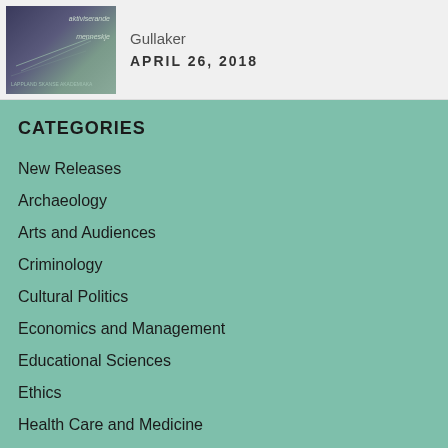[Figure (illustration): Book cover image with dark teal/slate gradient background and decorative text elements]
Gullaker
APRIL 26, 2018
CATEGORIES
New Releases
Archaeology
Arts and Audiences
Criminology
Cultural Politics
Economics and Management
Educational Sciences
Ethics
Health Care and Medicine
Higher Education
History
History of Art